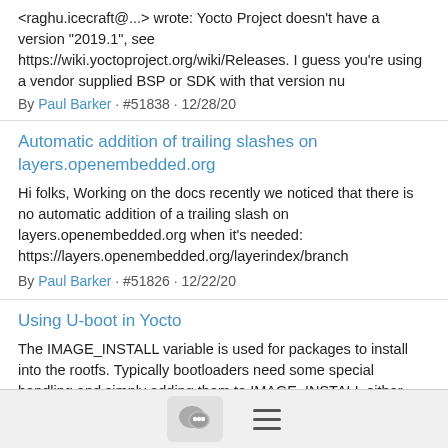<raghu.icecraft@...> wrote: Yocto Project doesn't have a version "2019.1", see https://wiki.yoctoproject.org/wiki/Releases. I guess you're using a vendor supplied BSP or SDK with that version nu
By Paul Barker · #51838 · 12/28/20
Automatic addition of trailing slashes on layers.openembedded.org
Hi folks, Working on the docs recently we noticed that there is no automatic addition of a trailing slash on layers.openembedded.org when it's needed: https://layers.openembedded.org/layerindex/branch
By Paul Barker · #51826 · 12/22/20
Using U-boot in Yocto
The IMAGE_INSTALL variable is used for packages to install into the rootfs. Typically bootloaders need some special handling and simply adding them to IMAGE_INSTALL either doesn't work or isn't suffic
By Paul Barker · #51813 · 12/20/20